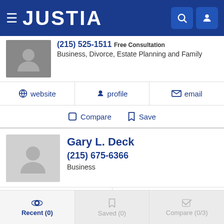JUSTIA
(215) 525-1511  Free Consultation
Business, Divorce, Estate Planning and Family
website | profile | email
Compare | Save
Gary L. Deck
(215) 675-6366
Business
profile | email
Compare | Save
Recent (0) | Saved (0) | Compare (0/3)